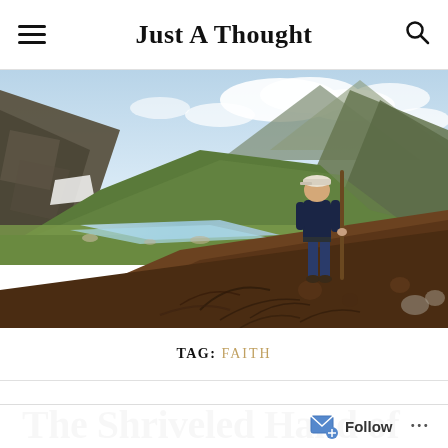Just A Thought
[Figure (photo): A man standing on a mound of earth and roots, holding a walking stick, with a mountain valley, glacier river, green hills, and cloudy sky in the background.]
TAG: FAITH
The Shriveled Hand of Faith